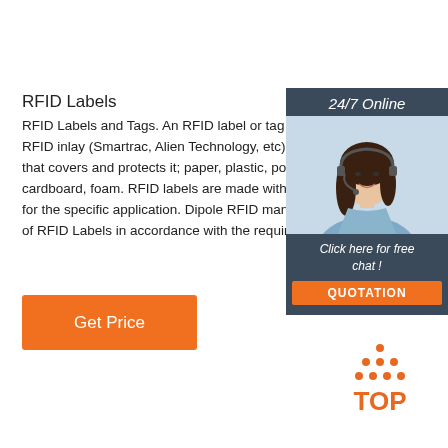RFID Labels
RFID Labels and Tags. An RFID label or tag is an el RFID inlay (Smartrac, Alien Technology, etc) within a that covers and protects it; paper, plastic, polyethyle cardboard, foam. RFID labels are made with the adh for the specific application. Dipole RFID manufactur of RFID Labels in accordance with the requirements
[Figure (other): Orange 'Get Price' button]
[Figure (other): Sidebar widget with woman wearing headset, '24/7 Online' header, 'Click here for free chat!' text, and orange QUOTATION button]
[Figure (logo): Orange TOP logo with dots forming a triangle above the text 'TOP']